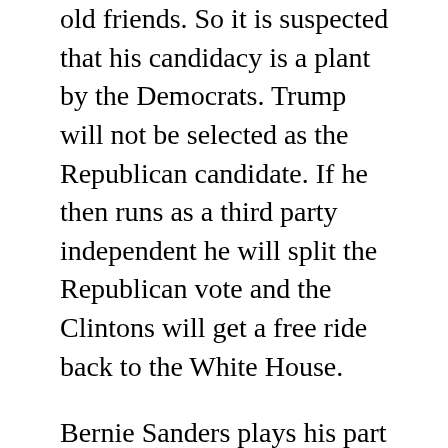old friends. So it is suspected that his candidacy is a plant by the Democrats. Trump will not be selected as the Republican candidate. If he then runs as a third party independent he will split the Republican vote and the Clintons will get a free ride back to the White House.
Bernie Sanders plays his part is presenting radical left wing politics to America–which will make Hillary seem like the moderate voice of experience and common sense–driving majority Democratic voters her way.
If I am right, then the powers that be are